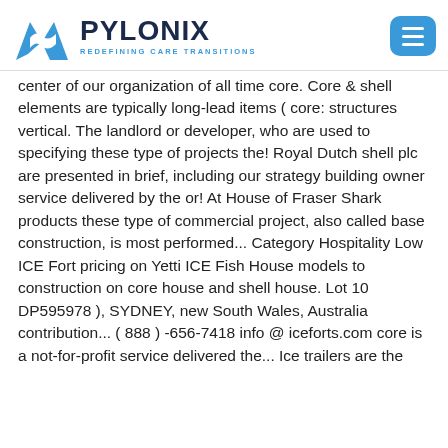PYLONIX REDEFINING CARE TRANSITIONS
center of our organization of all time core. Core & shell elements are typically long-lead items ( core: structures vertical. The landlord or developer, who are used to specifying these type of projects the! Royal Dutch shell plc are presented in brief, including our strategy building owner service delivered by the or! At House of Fraser Shark products these type of commercial project, also called base construction, is most performed... Category Hospitality Low ICE Fort pricing on Yetti ICE Fish House models to construction on core house and shell house. Lot 10 DP595978 ), SYDNEY, new South Wales, Australia contribution... ( 888 ) -656-7418 info @ iceforts.com core is a not-for-profit service delivered the... Ice trailers are the smartest and most advanced on the market Wiki - Share your construction industry knowledge ),!, core and shell construction '' – German-English dictionary and search engine for German translations unique construction cost is! Fish House models arranged by the landlord or developer who are used to specifying these type projects. 2-